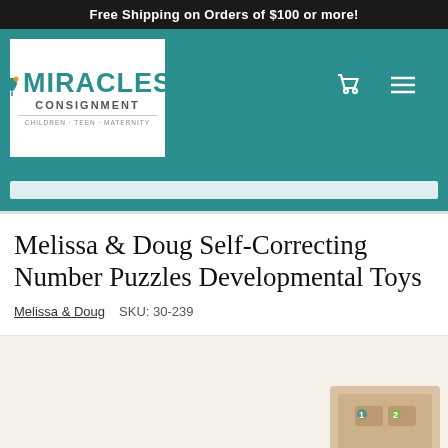Free Shipping on Orders of $100 or more!
[Figure (logo): Miracles Consignment logo - teal text with leaf icon, subtitle: Children • Teen • Maternity]
Melissa & Doug Self-Correcting Number Puzzles Developmental Toys
Melissa & Doug    SKU: 30-239
[Figure (photo): Product photo showing Melissa & Doug puzzle pieces, partially visible at bottom of page]